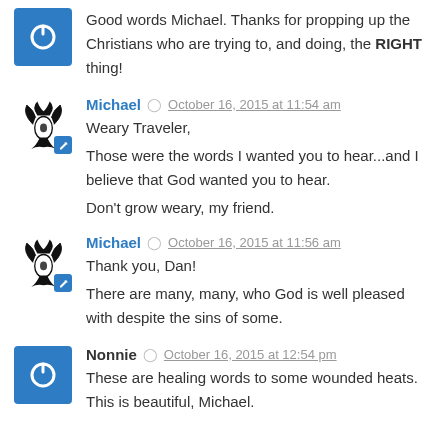Good words Michael. Thanks for propping up the Christians who are trying to, and doing, the RIGHT thing!
Michael  October 16, 2015 at 11:54 am
Weary Traveler,

Those were the words I wanted you to hear...and I believe that God wanted you to hear.
Don't grow weary, my friend.
Michael  October 16, 2015 at 11:56 am
Thank you, Dan!

There are many, many, who God is well pleased with despite the sins of some.
Nonnie  October 16, 2015 at 12:54 pm
These are healing words to some wounded heats. This is beautiful, Michael.